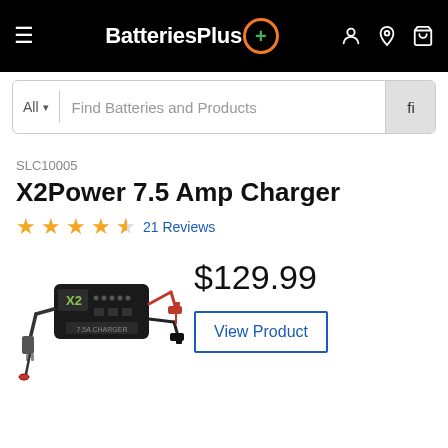BatteriesPlus+
All  |  Find Batteries and Products
SLC10005
X2Power 7.5 Amp Charger
★★★★½ 21 Reviews
[Figure (photo): X2Power 7.5 Amp Battery Charger product photo, black device with red and black clamp cables]
$129.99
View Product